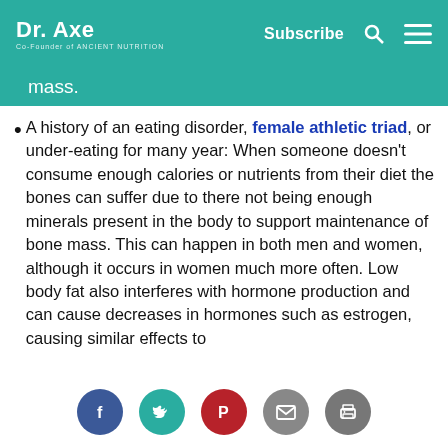Dr. Axe | Subscribe
mass.
A history of an eating disorder, female athletic triad, or under-eating for many year: When someone doesn't consume enough calories or nutrients from their diet the bones can suffer due to there not being enough minerals present in the body to support maintenance of bone mass. This can happen in both men and women, although it occurs in women much more often. Low body fat also interferes with hormone production and can cause decreases in hormones such as estrogen, causing similar effects to
Social share icons: Facebook, Twitter, Pinterest, Email, Print